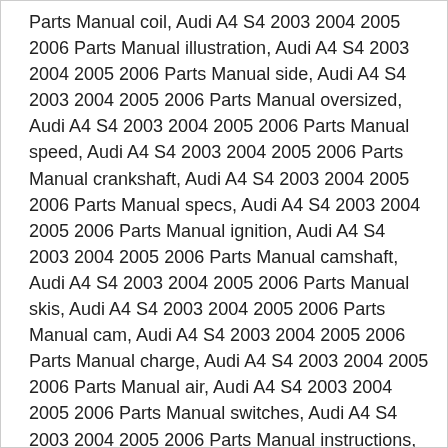Parts Manual coil, Audi A4 S4 2003 2004 2005 2006 Parts Manual illustration, Audi A4 S4 2003 2004 2005 2006 Parts Manual side, Audi A4 S4 2003 2004 2005 2006 Parts Manual oversized, Audi A4 S4 2003 2004 2005 2006 Parts Manual speed, Audi A4 S4 2003 2004 2005 2006 Parts Manual crankshaft, Audi A4 S4 2003 2004 2005 2006 Parts Manual specs, Audi A4 S4 2003 2004 2005 2006 Parts Manual ignition, Audi A4 S4 2003 2004 2005 2006 Parts Manual camshaft, Audi A4 S4 2003 2004 2005 2006 Parts Manual skis, Audi A4 S4 2003 2004 2005 2006 Parts Manual cam, Audi A4 S4 2003 2004 2005 2006 Parts Manual charge, Audi A4 S4 2003 2004 2005 2006 Parts Manual air, Audi A4 S4 2003 2004 2005 2006 Parts Manual switches, Audi A4 S4 2003 2004 2005 2006 Parts Manual instructions, Audi A4 S4 2003 2004 2005 2006 Parts Manual guide, Audi A4 S4 2003 2004 2005 2006 Parts Manual line, Audi A4 S4 2003 2004 2005 2006 Parts Manual tree, Audi